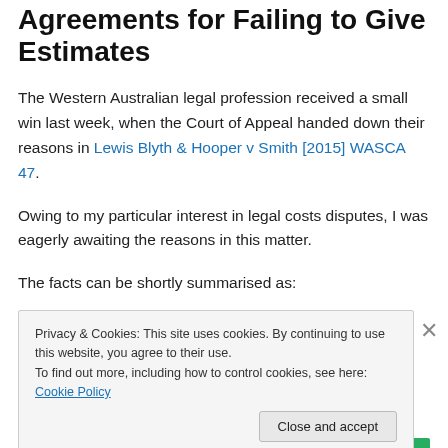Agreements for Failing to Give Estimates
The Western Australian legal profession received a small win last week, when the Court of Appeal handed down their reasons in Lewis Blyth & Hooper v Smith [2015] WASCA 47.
Owing to my particular interest in legal costs disputes, I was eagerly awaiting the reasons in this matter.
The facts can be shortly summarised as:
Privacy & Cookies: This site uses cookies. By continuing to use this website, you agree to their use.
To find out more, including how to control cookies, see here: Cookie Policy